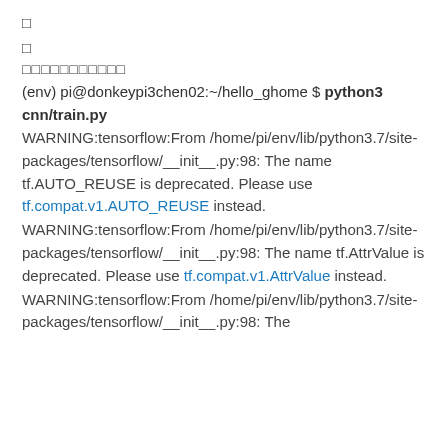□
□
□□□□□□□□□□□
(env) pi@donkeypi3chen02:~/hello_ghome $ python3 cnn/train.py
WARNING:tensorflow:From /home/pi/env/lib/python3.7/site-packages/tensorflow/__init__.py:98: The name tf.AUTO_REUSE is deprecated. Please use tf.compat.v1.AUTO_REUSE instead.
WARNING:tensorflow:From /home/pi/env/lib/python3.7/site-packages/tensorflow/__init__.py:98: The name tf.AttrValue is deprecated. Please use tf.compat.v1.AttrValue instead.
WARNING:tensorflow:From /home/pi/env/lib/python3.7/site-packages/tensorflow/__init__.py:98: The